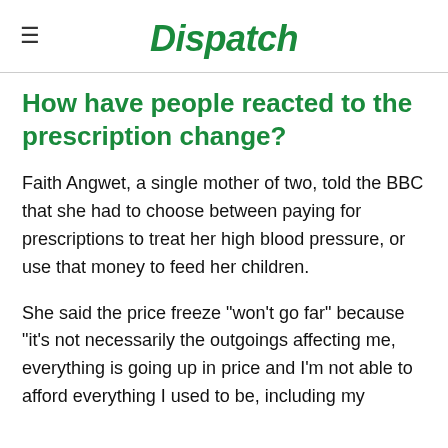Dispatch
How have people reacted to the prescription change?
Faith Angwet, a single mother of two, told the BBC that she had to choose between paying for prescriptions to treat her high blood pressure, or use that money to feed her children.
She said the price freeze "won't go far" because "it's not necessarily the outgoings affecting me, everything is going up in price and I'm not able to afford everything I used to be, including my